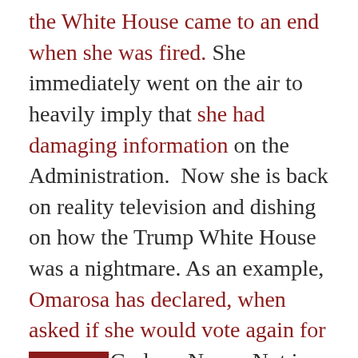the White House came to an end when she was fired. She immediately went on the air to heavily imply that she had damaging information on the Administration.  Now she is back on reality television and dishing on how the Trump White House was a nightmare. As an example, Omarosa has declared, when asked if she would vote again for Trump, “God no. Never. Not in a million years, never.”